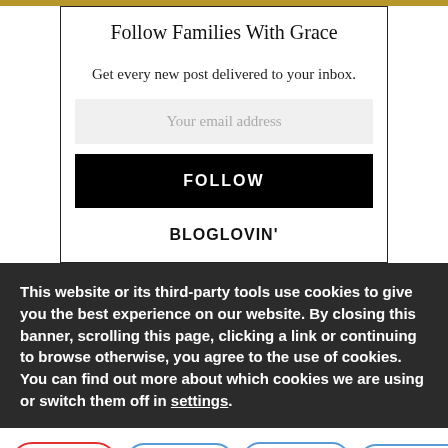Follow Families With Grace
Get every new post delivered to your inbox.
Your email address
FOLLOW
BLOGLOVIN'
This website or its third-party tools use cookies to give you the best experience on our website. By closing this banner, scrolling this page, clicking a link or continuing to browse otherwise, you agree to the use of cookies.
You can find out more about which cookies we are using or switch them off in settings.
[Figure (other): Row of four rounded letter buttons: A (red border), k (blue border), N (blue border), s (blue border)]